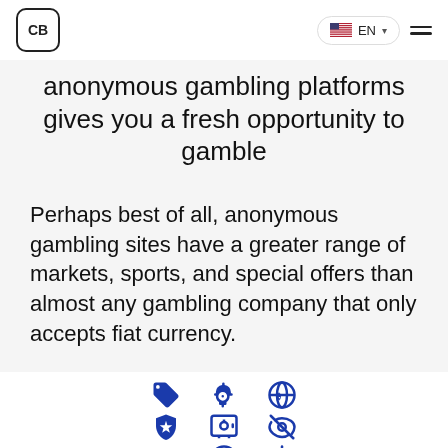CB | EN
anonymous gambling platforms gives you a fresh opportunity to gamble
Perhaps best of all, anonymous gambling sites have a greater range of markets, sports, and special offers than almost any gambling company that only accepts fiat currency.
[Figure (illustration): Nine blue icons in a 3x3 grid: row 1: tag/price icon, piggy bank icon, globe with crypto icon; row 2: shield with star icon, safe/vault icon, eye-crossed icon; row 3: crab/bug icon, bitcoin coin icon, sparkle/bug icon]